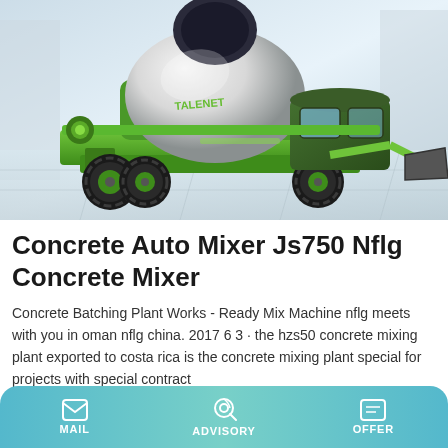[Figure (photo): A green Talenet brand concrete auto mixer truck (self-loading concrete mixer) with a white drum, front loader bucket, and black wheels, photographed against a light architectural background.]
Concrete Auto Mixer Js750 Nflg Concrete Mixer
Concrete Batching Plant Works - Ready Mix Machine nflg meets with you in oman nflg china. 2017 6 3 · the hzs50 concrete mixing plant exported to costa rica is the concrete mixing plant special for projects with special contract
MAIL   ADVISORY   OFFER